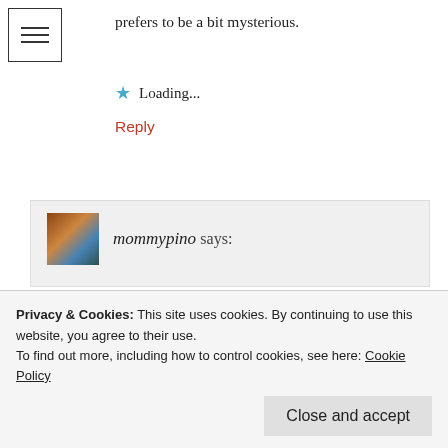[Figure (other): Hamburger menu icon, three horizontal lines in a square border]
prefers to be a bit mysterious.
Loading...
Reply
[Figure (photo): Avatar thumbnail of mommypino user]
mommypino says:
January 11, 2019 at 06:38
I agree 2SF. I think it's a smart strategy to stay mysterious especially since she mentioned that
Privacy & Cookies: This site uses cookies. By continuing to use this website, you agree to their use.
To find out more, including how to control cookies, see here: Cookie Policy
Close and accept